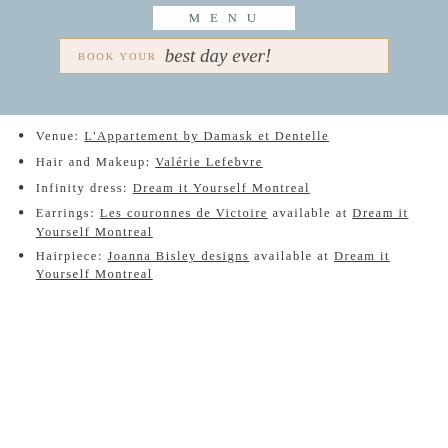MENU
[Figure (illustration): Banner reading 'BOOK YOUR best day ever!' with print text in gold and script text in handwriting style, on a peach/cream background with border]
Venue: L'Appartement by Damask et Dentelle
Hair and Makeup: Valérie Lefebvre
Infinity dress: Dream it Yourself Montreal
Earrings: Les couronnes de Victoire available at Dream it Yourself Montreal
Hairpiece: Joanna Bisley designs available at Dream it Yourself Montreal